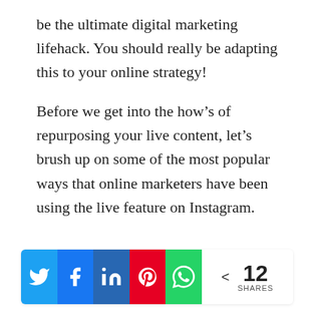be the ultimate digital marketing lifehack. You should really be adapting this to your online strategy!
Before we get into the how's of repurposing your live content, let's brush up on some of the most popular ways that online marketers have been using the live feature on Instagram.
[Figure (infographic): Social media share bar with Twitter, Facebook, LinkedIn, Pinterest, WhatsApp buttons and a share count showing 12 SHARES]